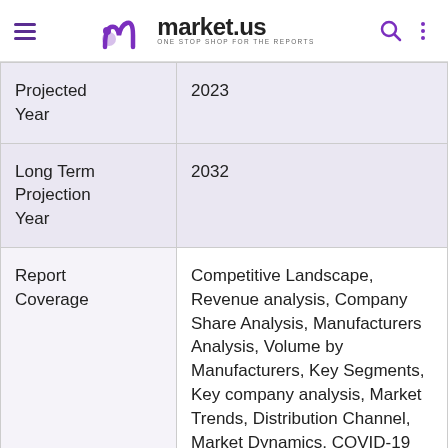market.us — ONE STOP SHOP FOR THE REPORTS
|  |  |
| --- | --- |
| Projected Year | 2023 |
| Long Term Projection Year | 2032 |
| Report Coverage | Competitive Landscape, Revenue analysis, Company Share Analysis, Manufacturers Analysis, Volume by Manufacturers, Key Segments, Key company analysis, Market Trends, Distribution Channel, Market Dynamics, COVID-19 Impact Analysis, strategy for existing |